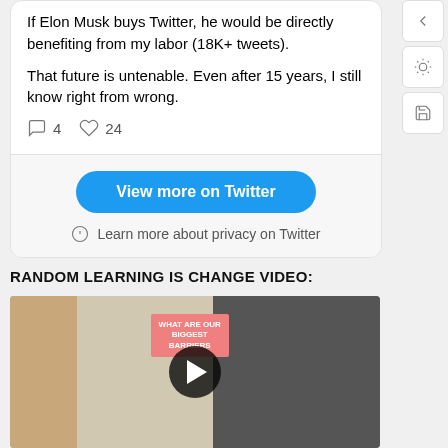If Elon Musk buys Twitter, he would be directly benefiting from my labor (18K+ tweets).
That future is untenable. Even after 15 years, I still know right from wrong.
4 comments, 24 likes
View more on Twitter
Learn more about privacy on Twitter
RANDOM LEARNING IS CHANGE VIDEO:
[Figure (screenshot): Video thumbnail showing two people in a room with a poster reading WHAT ARE OUR BIGGEST BARRIERS, with a YouTube-style play button overlay]